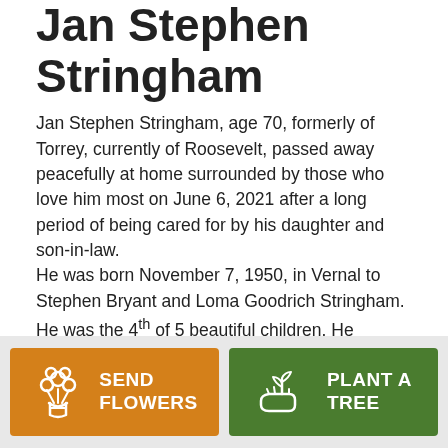Jan Stephen Stringham
Jan Stephen Stringham, age 70, formerly of Torrey, currently of Roosevelt, passed away peacefully at home surrounded by those who love him most on June 6, 2021 after a long period of being cared for by his daughter and son-in-law. He was born November 7, 1950, in Vernal to Stephen Bryant and Loma Goodrich Stringham. He was the 4th of 5 beautiful children. He married Rhonda Deakin March 19, 1978, and after 34 years they divorced.
[Figure (other): Button: Send Flowers (orange background with flower bouquet icon)]
[Figure (other): Button: Plant a Tree (green background with plant/hand icon)]